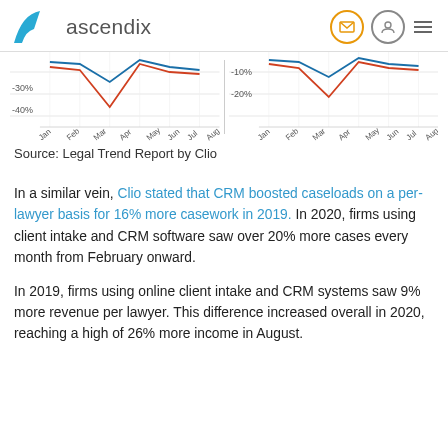ascendix
[Figure (continuous-plot): Two partial line charts showing percentage trends from Jan to Aug, with values around -30% to -40% on the left chart and -10% to -20% on the right chart. Each chart has two lines (blue and red/orange) forming a V-shape around April/May.]
Source: Legal Trend Report by Clio
In a similar vein, Clio stated that CRM boosted caseloads on a per-lawyer basis for 16% more casework in 2019. In 2020, firms using client intake and CRM software saw over 20% more cases every month from February onward.
In 2019, firms using online client intake and CRM systems saw 9% more revenue per lawyer. This difference increased overall in 2020, reaching a high of 26% more income in August.